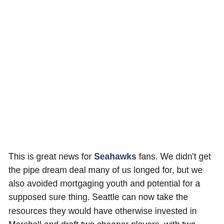This is great news for Seahawks fans. We didn't get the pipe dream deal many of us longed for, but we also avoided mortgaging youth and potential for a supposed sure thing. Seattle can now take the resources they would have otherwise invested in Marshall and draft two cheaper players, with two pairs of knees, two